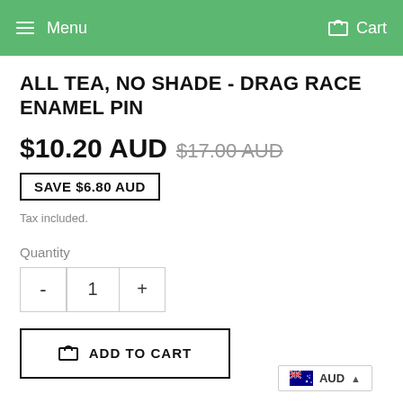Menu   Cart
ALL TEA, NO SHADE - DRAG RACE ENAMEL PIN
$10.20 AUD  $17.00 AUD
SAVE $6.80 AUD
Tax included.
Quantity
- 1 +
ADD TO CART
AUD